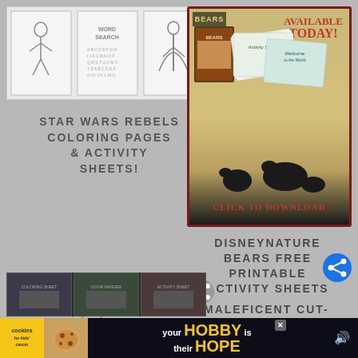[Figure (screenshot): Star Wars Rebels coloring pages preview images - three black and white coloring page thumbnails]
STAR WARS REBELS COLORING PAGES & ACTIVITY SHEETS!
[Figure (screenshot): Disneynature Bears activity sheets advertisement - Available Today! Click to Download]
DISNEYNATURE BEARS FREE PRINTABLE ACTIVITY SHEETS
I'm not a robot
The See Mom Click Privacy Policy details what user information is collected and how it is used. Checking this box confirms I have reviewed it, and opt in to receive news and updates.
[Figure (screenshot): Bottom thumbnails strip - three small activity sheet thumbnails]
MALEFICENT CUT-
[Figure (screenshot): Bottom advertisement banner - your HOBBY is their HOPE with cookies logo]